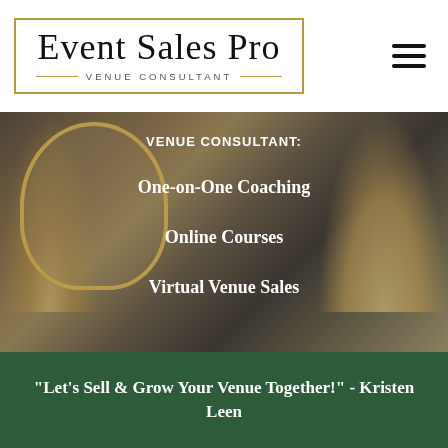[Figure (logo): Event Sales Pro logo with gold border and 'VENUE CONSULTANT' subtitle]
[Figure (photo): Woman smiling seated on white sofa in an event venue space with pampas grass and gold mirrors, with overlay text listing services]
VENUE CONSULTANT:
One-on-One Coaching
Online Courses
Virtual Venue Sales
"Let's Sell & Grow Your Venue Together!" - Kristen Leen